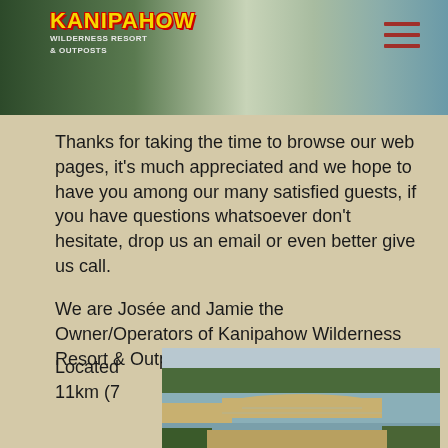[Figure (logo): Kanipahow Wilderness Resort & Outposts logo with yellow text on red outline]
Thanks for taking the time to browse our web pages, it's much appreciated and we hope to have you among our many satisfied guests, if you have questions whatsoever don't hesitate, drop us an email or even better give us call.
We are Josée and Jamie the Owner/Operators of Kanipahow Wilderness Resort & Outposts
Located 11km (7
[Figure (photo): Aerial view of wilderness river/lake landscape with sandy shores and boreal forest]